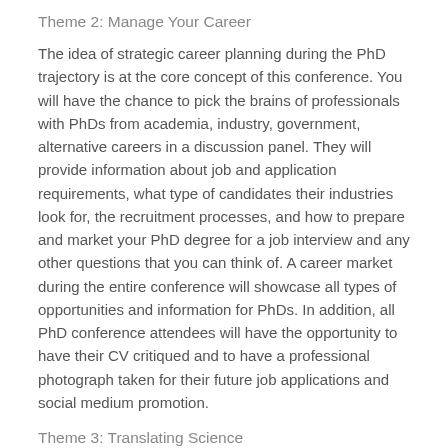Theme 2: Manage Your Career
The idea of strategic career planning during the PhD trajectory is at the core concept of this conference. You will have the chance to pick the brains of professionals with PhDs from academia, industry, government, alternative careers in a discussion panel. They will provide information about job and application requirements, what type of candidates their industries look for, the recruitment processes, and how to prepare and market your PhD degree for a job interview and any other questions that you can think of. A career market during the entire conference will showcase all types of opportunities and information for PhDs. In addition, all PhD conference attendees will have the opportunity to have their CV critiqued and to have a professional photograph taken for their future job applications and social medium promotion.
Theme 3: Translating Science
Interacting with information is at the very heart of research and informed researchers are both consumers and producers of information. This theme will explore the communication and transfer of scientific information for…